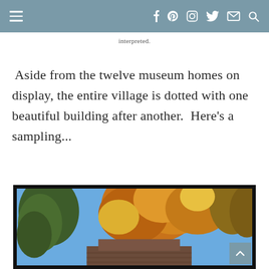Navigation header with hamburger menu and social icons
interpreted.
Aside from the twelve museum homes on display, the entire village is dotted with one beautiful building after another.  Here's a sampling...
[Figure (photo): Autumn trees with orange and yellow foliage against a blue sky, with a building partially visible below. Framed with a black border.]